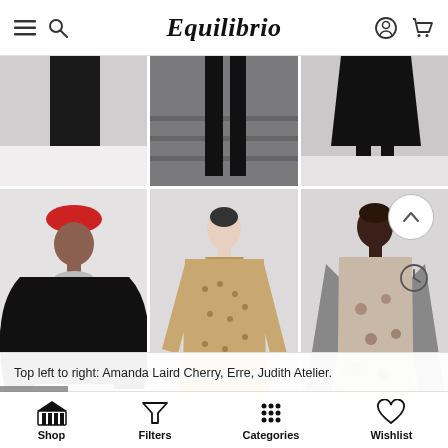Equilibrio — navigation bar with menu, search, logo, account, cart icons
[Figure (photo): Fashion runway photo grid showing 6 images in 2 rows of 3 columns. Top row: partial lower-body shots of models on runways. Bottom row: three full-body runway shots — left: model in bold black sculptural jacket with colorful printed maxi skirt and red beret; center: model in patterned blouse with golden wide-leg trousers; right: model in floral/grey long dress.]
Top left to right: Amanda Laird Cherry, Erre, Judith Atelier.
Shop | Filters | Categories | Wishlist